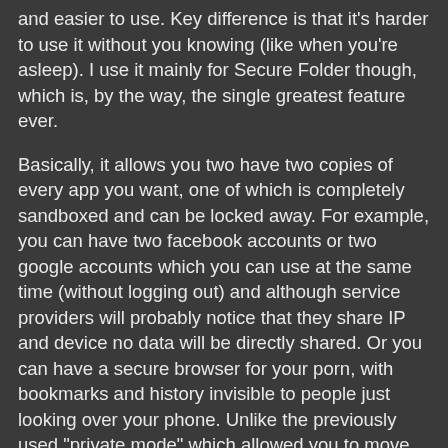and easier to use. Key difference is that it's harder to use it without you knowing (like when you're asleep). I use it mainly for Secure Folder though, which is, by the way, the single greatest feature ever.
Basically, it allows you two have two copies of every app you want, one of which is completely sandboxed and can be locked away. For example, you can have two facebook accounts or two google accounts which you can use at the same time (without logging out) and although service providers will probably notice that they share IP and device no data will be directly shared. Or you can have a secure browser for your porn, with bookmarks and history invisible to people just looking over your phone. Unlike the previously used "private mode" which allowed you to move your naked pictures to private gallery (ricking them being synced by google), now you can take then with secure camera to begin with with geo tags are automatically disabled. By the way, you can totally allow different permissions for secure and non-secure apps and, for example, hide your location from secure messenger while share your location with non-secure one (yes, of course, same IP, same device, facebook can sti...